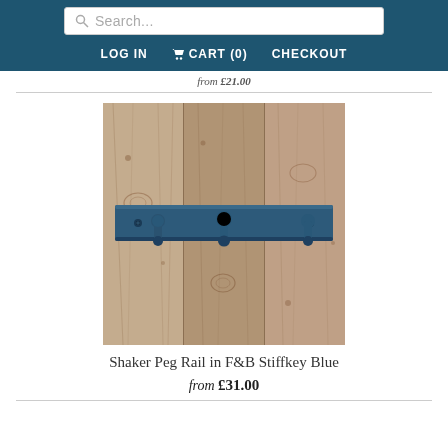Search... | LOG IN | CART (0) | CHECKOUT
from £21.00
[Figure (photo): Shaker peg rail painted in F&B Stiffkey Blue, mounted horizontally on a rustic wooden plank background. The rail has three round wooden pegs and is a dark teal/navy blue color.]
Shaker Peg Rail in F&B Stiffkey Blue
from £31.00